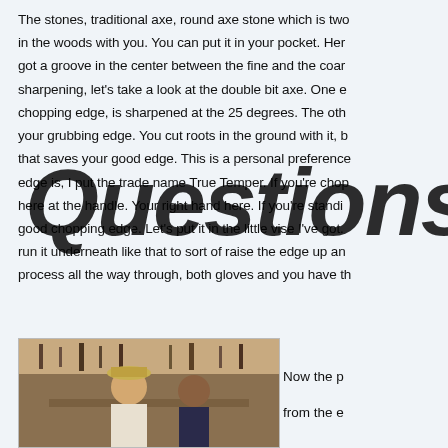The stones, traditional axe, round axe stone which is two in the woods with you. You can put it in your pocket. Her got a groove in the center between the fine and the coar sharpening, let's take a look at the double bit axe. One e chopping edge, is sharpened at the 25 degrees. The oth your grubbing edge. You cut roots in the ground with it, b that saves your good edge. This is a personal preference edge is, I put the trade name True Temper. If you're chop here at the handle. Your right hand here. If you're standi good chopping edge. Let's put it in the little vise I've got. run it underneath like that to sort of raise the edge up an process all the way through, both gloves and you have th
Questions
[Figure (photo): A person wearing a hat working at what appears to be a workshop or demonstration area.]
Now the p from the e